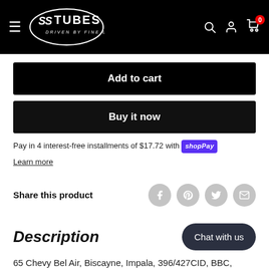[Figure (logo): SS Tubes logo - white circular logo with 'SSTUBES DRIVEN BY FINE LINES' text on black header background]
Add to cart
Buy it now
Pay in 4 interest-free installments of $17.72 with shop Pay
Learn more
Share this product
Description
65 Chevy Bel Air, Biscayne, Impala, 396/427CID, BBC,